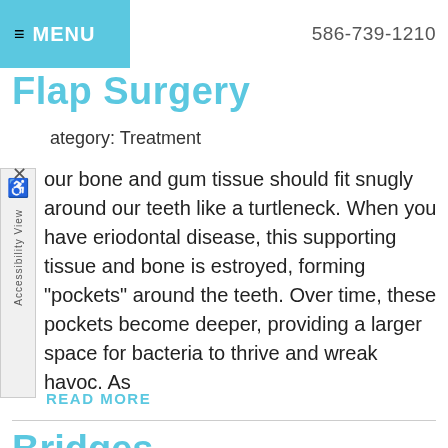≡ MENU   586-739-1210
Flap Surgery
Category: Treatment
Your bone and gum tissue should fit snugly around your teeth like a turtleneck. When you have periodontal disease, this supporting tissue and bone is destroyed, forming "pockets" around the teeth. Over time, these pockets become deeper, providing a larger space for bacteria to thrive and wreak havoc. As
READ MORE
Bridges